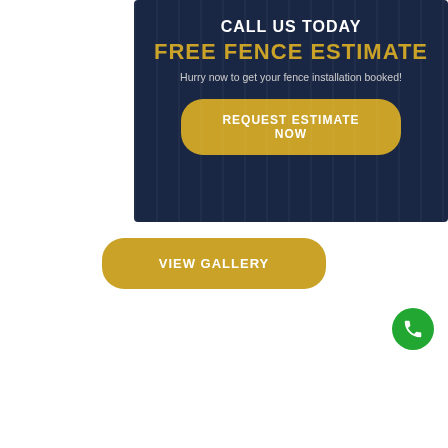[Figure (infographic): Dark navy blue banner with fence panel texture background containing call-to-action text and button]
CALL US TODAY
FREE FENCE ESTIMATE
Hurry now to get your fence installation booked!
REQUEST ESTIMATE NOW
VIEW GALLERY
[Figure (illustration): Green circular phone call button icon in bottom right area]